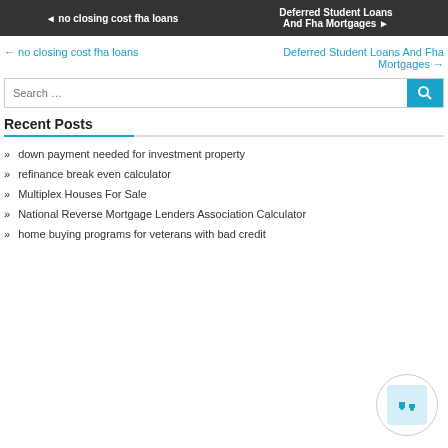[Figure (screenshot): Navigation buttons: left button '◄ no closing cost fha loans', right button 'Deferred Student Loans And Fha Mortgages ►']
← no closing cost fha loans
Deferred Student Loans And Fha Mortgages →
Search …
Recent Posts
down payment needed for investment property
refinance break even calculator
Multiplex Houses For Sale
National Reverse Mortgage Lenders Association Calculator
home buying programs for veterans with bad credit